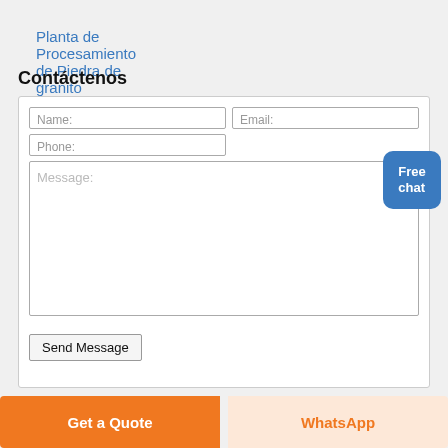Planta de Procesamiento de Piedra de granito
Contáctenos
[Figure (screenshot): Contact form with Name, Email, Phone, Message fields and Send Message button]
Free chat
Get a Quote
WhatsApp